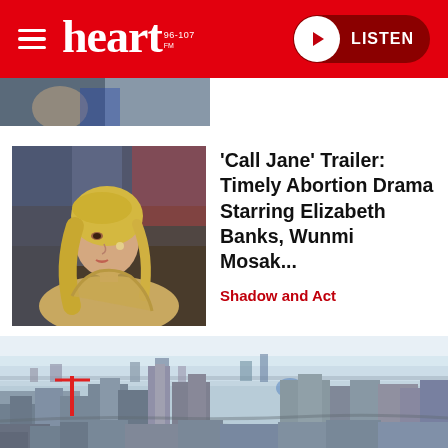heart 96-107 | LISTEN
[Figure (photo): Partial thumbnail image at top, partially cut off]
[Figure (photo): Woman with blonde hair, side profile, film still from 'Call Jane']
'Call Jane' Trailer: Timely Abortion Drama Starring Elizabeth Banks, Wunmi Mosak...
Shadow and Act
[Figure (photo): Aerial cityscape photo showing a sprawling city with buildings, streets, and hazy sky]